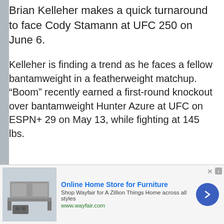Brian Kelleher makes a quick turnaround to face Cody Stamann at UFC 250 on June 6.
Kelleher is finding a trend as he faces a fellow bantamweight in a featherweight matchup. “Boom” recently earned a first-round knockout over bantamweight Hunter Azure at UFC on ESPN+ 29 on May 13, while fighting at 145 lbs.
BJPenn.com ini... between Kelleh... 250, the promo... Las Vegas, Nev...
[Figure (screenshot): Top Articles video overlay showing MMA fighters training, with pause button and mute icon visible. A caption at the bottom reads 'Facebook founder Mark']
[Figure (advertisement): Wayfair ad: Online Home Store for Furniture. Shop Wayfair for A Zillion Things Home across all styles. www.wayfair.com. Shows furniture image on left and blue arrow button on right.]